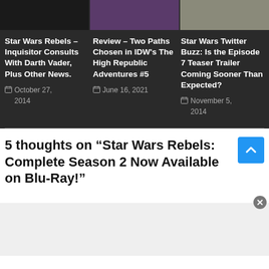[Figure (screenshot): Three thumbnail images in a row — dark scene, purple/fantasy character, outdoor person]
Star Wars Rebels – Inquisitor Consults With Darth Vader, Plus Other News.
October 27, 2014
Review – Two Paths Chosen in IDW's The High Republic Adventures #5
June 16, 2021
Star Wars Twitter Buzz: Is the Episode 7 Teaser Trailer Coming Sooner Than Expected?
November 5, 2014
5 thoughts on “Star Wars Rebels: Complete Season 2 Now Available on Blu-Ray!”